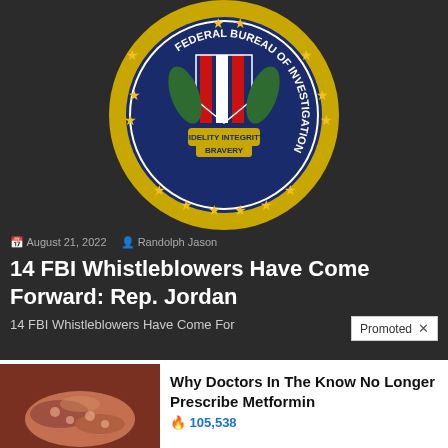[Figure (photo): FBI seal / badge logo on dark background]
August 21, 2022   Randolph Jason
14 FBI Whistleblowers Have Come Forward: Rep. Jordan
14 FBI Whistleblowers Have Come For...
Promoted ×
[Figure (photo): Medical image of internal organs (pancreas/intestines)]
Why Doctors In The Know No Longer Prescribe Metformin
🔥 105,538
[Figure (photo): Video thumbnail showing a man speaking at a podium with play button overlay]
Overlooked Message In The Bible Democrats Want Banned
🔥 139,777